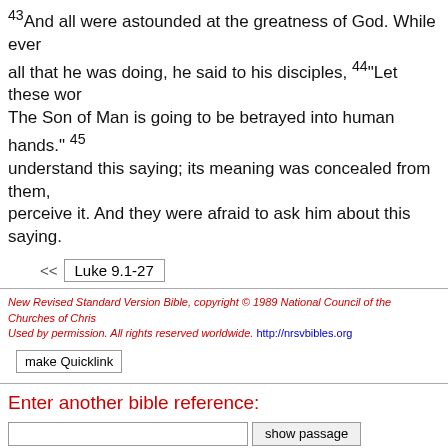43And all were astounded at the greatness of God. While every all that he was doing, he said to his disciples, 44"Let these wor The Son of Man is going to be betrayed into human hands." 45 understand this saying; its meaning was concealed from them, perceive it. And they were afraid to ask him about this saying.
<< Luke 9.1-27
New Revised Standard Version Bible, copyright © 1989 National Council of the Churches of Chris Used by permission. All rights reserved worldwide. http://nrsvbibles.org
make Quicklink
Enter another bible reference:
show passage
[Figure (logo): obb bible browser logo in red serif font]
biblemail@oremus.org
v 2.9.2
30 June 2021